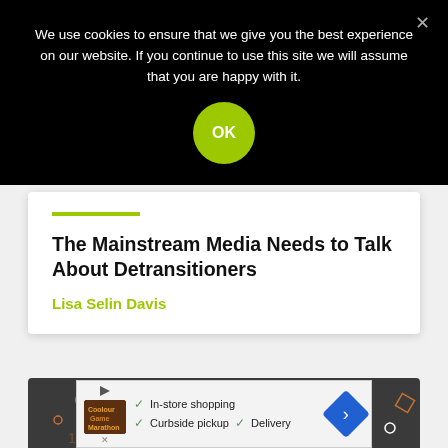We use cookies to ensure that we give you the best experience on our website. If you continue to use this site we will assume that you are happy with it.
OK
The Mainstream Media Needs to Talk About Detransitioners
Lisa Selin Davis
[Figure (photo): Dark background with scattered geometric shapes (circles, squares, outlines) in copper/white tones]
[Figure (infographic): Advertisement banner showing store logo, checkmarks, and text: In-store shopping, Curbside pickup, Delivery, with a blue diamond navigation arrow icon]